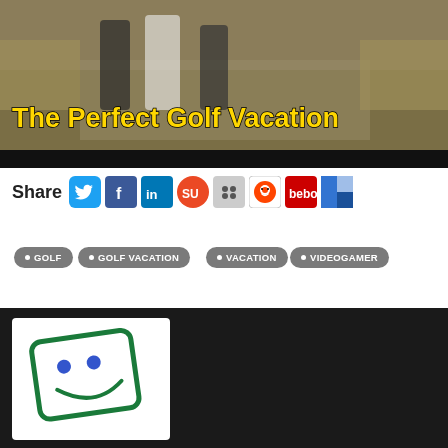[Figure (photo): Hero banner showing people carrying golf bags on a path, with yellow bold text overlay reading 'The Perfect Golf Vacation', dark bar at bottom]
Share [Twitter] [Facebook] [LinkedIn] [StumbleUpon] [Digg] [Reddit] [Bebo] [Delicious]
GOLF
GOLF VACATION
VACATION
VIDEOGAMER
[Figure (illustration): White card/icon with green border and blue dots on dark background, partial view]